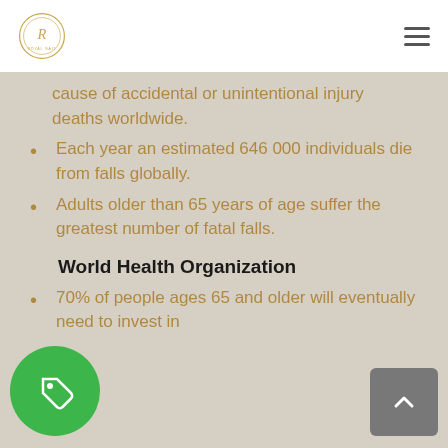Royal Gait logo and navigation
cause of accidental or unintentional injury deaths worldwide.
Each year an estimated 646 000 individuals die from falls globally.
Adults older than 65 years of age suffer the greatest number of fatal falls.
World Health Organization
70% of people ages 65 and older will eventually need to invest in